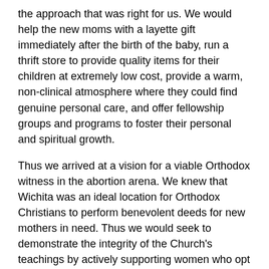the approach that was right for us. We would help the new moms with a layette gift immediately after the birth of the baby, run a thrift store to provide quality items for their children at extremely low cost, provide a warm, non-clinical atmosphere where they could find genuine personal care, and offer fellowship groups and programs to foster their personal and spiritual growth.
Thus we arrived at a vision for a viable Orthodox witness in the abortion arena. We knew that Wichita was an ideal location for Orthodox Christians to perform benevolent deeds for new mothers in need. Thus we would seek to demonstrate the integrity of the Church's teachings by actively supporting women who opt to complete their pregnancy rather than abort. Such a ministry would be peaceable rather than contentious, and show the Church backing up its teachings with the requisite good works. This is the witness we believe the Holy Spirit guided us to implement - a positive and life-affirming contribution in the